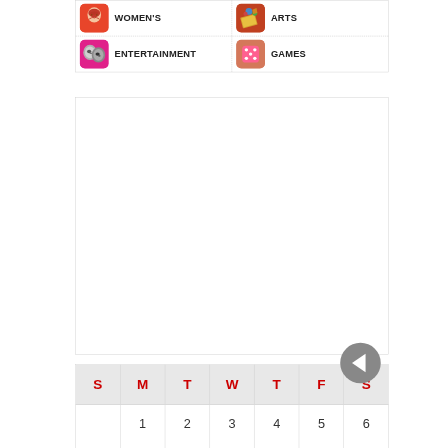[Figure (screenshot): App category grid showing WOMEN'S, ARTS, ENTERTAINMENT, GAMES icons with labels]
[Figure (screenshot): Large white empty content area]
| S | M | T | W | T | F | S |
| --- | --- | --- | --- | --- | --- | --- |
|  | 1 | 2 | 3 | 4 | 5 | 6 |
|  |  |  |  |  |  |  |